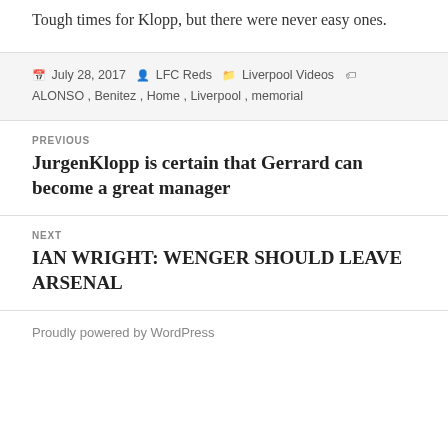Tough times for Klopp, but there were never easy ones.
July 28, 2017 · LFC Reds · Liverpool Videos · ALONSO, Benitez, Home, Liverpool, memorial
Previous: JurgenKlopp is certain that Gerrard can become a great manager
Next: IAN WRIGHT: WENGER SHOULD LEAVE ARSENAL
Proudly powered by WordPress